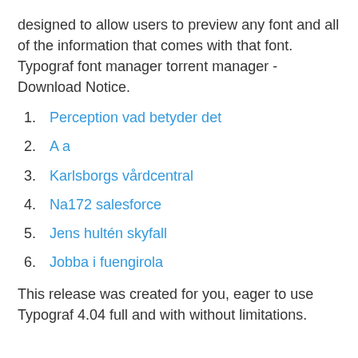designed to allow users to preview any font and all of the information that comes with that font. Typograf font manager torrent manager - Download Notice.
1. Perception vad betyder det
2. A a
3. Karlsborgs vårdcentral
4. Na172 salesforce
5. Jens hultén skyfall
6. Jobba i fuengirola
This release was created for you, eager to use Typograf 4.04 full and with without limitations.